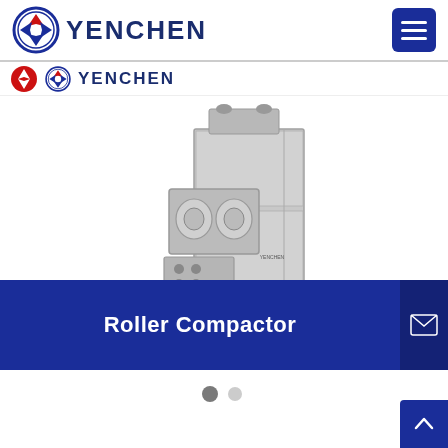YENCHEN
[Figure (photo): Yenchen Roller Compactor machine — stainless steel industrial pharmaceutical compacting machine on a wheeled frame]
Roller Compactor